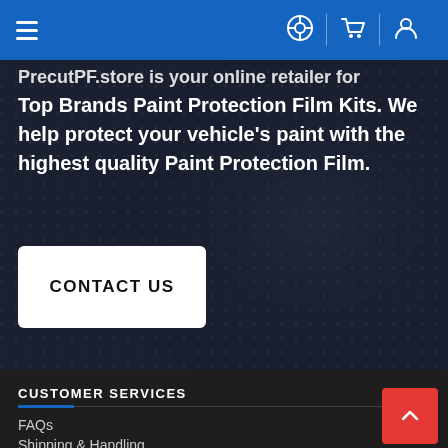Navigation bar with hamburger menu, help, cart, and user icons
PrecutPF.store is your online retailer for Top Brands Paint Protection Film Kits. We help protect your vehicle's paint with the highest quality Paint Protection Film.
CONTACT US
CUSTOMER SERVICES
FAQs
Shipping & Handling
Privacy Policy